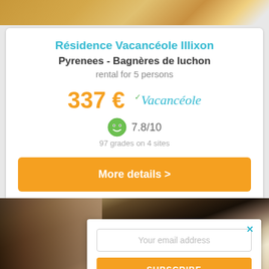[Figure (photo): Top portion of a room interior photo showing wooden door/furniture in warm tones]
Résidence Vacancéole Illixon
Pyrenees - Bagnères de luchon
rental for 5 persons
337 €
[Figure (logo): Vacancéole brand logo in teal italic script]
7.8/10
97 grades on 4 sites
More details >
[Figure (photo): Interior room photo showing ceiling and rustic beam, partially covered by popup overlay]
Your email address
SUBSCRIBE